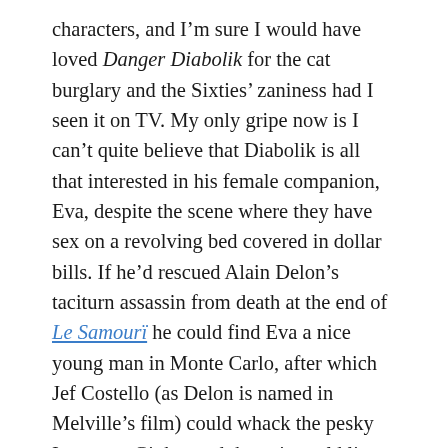characters, and I'm sure I would have loved Danger Diabolik for the cat burglary and the Sixties' zaniness had I seen it on TV. My only gripe now is I can't quite believe that Diabolik is all that interested in his female companion, Eva, despite the scene where they have sex on a revolving bed covered in dollar bills. If he'd rescued Alain Delon's taciturn assassin from death at the end of Le Samouraï he could find Eva a nice young man in Monte Carlo, after which Jef Costello (as Delon is named in Melville's film) could whack the pesky Inspector Ginko, and the pair could live together in subterranean peace, at least until the next heist. We can but dream.